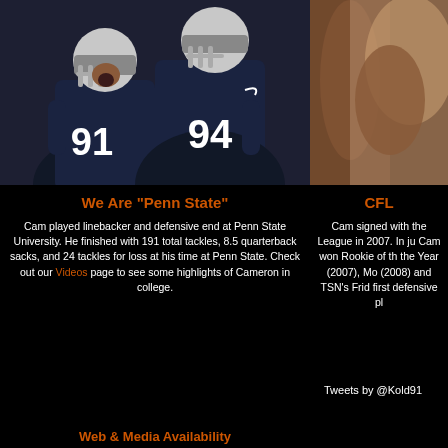[Figure (photo): Two Penn State football players in dark jerseys numbered 91 and 94 on the left, and a partial photo of another player on the right]
We Are "Penn State"
Cam played linebacker and defensive end at Penn State University. He finished with 191 total tackles, 8.5 quarterback sacks, and 24 tackles for loss at his time at Penn State. Check out our Videos page to see some highlights of Cameron in college.
CFL
Cam signed with the League in 2007. In ju Cam won Rookie of th the Year (2007), Mo (2008) and TSN's Frid first defensive pl
Tweets by @Kold91
Web & Media Availability